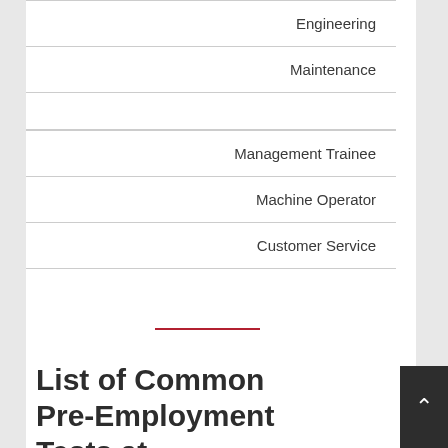Engineering
Maintenance
Management Trainee
Machine Operator
Customer Service
List of Common Pre-Employment Tests at